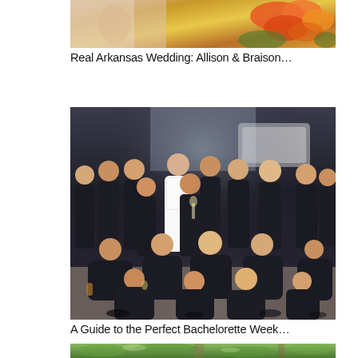[Figure (photo): Partial view of a wedding photo showing flowers and a bride, cropped at the top]
Real Arkansas Wedding: Allison & Braison…
[Figure (photo): Group photo of a bride in a white lace dress surrounded by bridesmaids wearing dark navy/black robes, some seated on the floor, taken in an elegant room with a white grand piano in the background]
A Guide to the Perfect Bachelorette Week…
[Figure (photo): Partial view of an outdoor photo with green foliage, cropped at the bottom of the page]